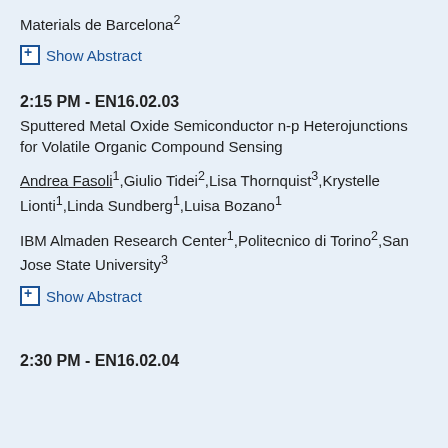Materials de Barcelona²
⊞ Show Abstract
2:15 PM - EN16.02.03
Sputtered Metal Oxide Semiconductor n-p Heterojunctions for Volatile Organic Compound Sensing
Andrea Fasoli¹,Giulio Tidei²,Lisa Thornquist³,Krystelle Lionti¹,Linda Sundberg¹,Luisa Bozano¹
IBM Almaden Research Center¹,Politecnico di Torino²,San Jose State University³
⊞ Show Abstract
2:30 PM - EN16.02.04